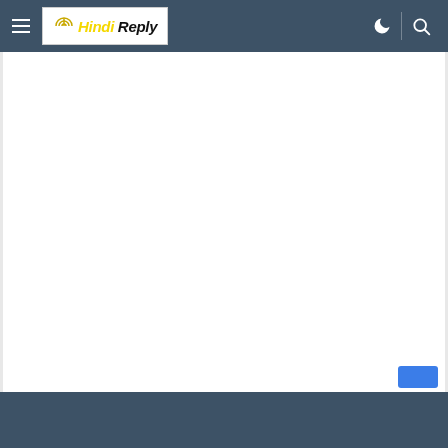Hindi Reply
[Figure (screenshot): White content area (advertisement placeholder) below the navigation bar]